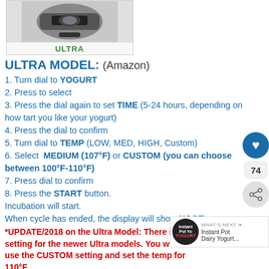[Figure (photo): Product image of Instant Pot Ultra model with ULTRA label below]
ULTRA MODEL: (Amazon)
1. Turn dial to YOGURT
2. Press to select
3. Press the dial again to set TIME (5-24 hours, depending on how tart you like your yogurt)
4. Press the dial to confirm
5. Turn dial to TEMP (LOW, MED, HIGH, Custom)
6. Select MEDIUM (107°F) or CUSTOM (you can choose between 100°F-110°F)
7. Press dial to confirm
8. Press the START button.
Incubation will start.
When cycle has ended, the display will show YOGT
*UPDATE/2018 on the Ultra Model: There is a setting for the newer Ultra models. You will need to use the CUSTOM setting and set the temp for 110°F.